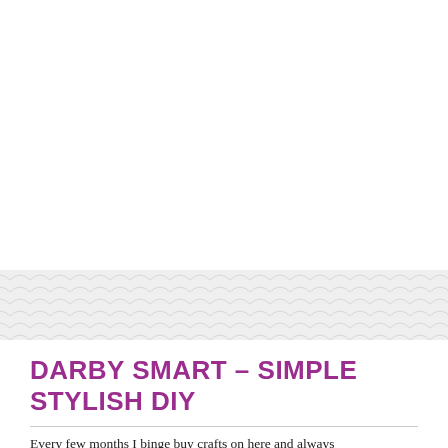[Figure (illustration): Decorative wave/scallop pattern band in light gray separating the white upper area from the content below]
DARBY SMART – SIMPLE STYLISH DIY
Every few months I binge buy crafts on here and always